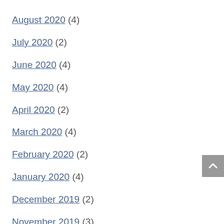August 2020 (4)
July 2020 (2)
June 2020 (4)
May 2020 (4)
April 2020 (2)
March 2020 (4)
February 2020 (2)
January 2020 (4)
December 2019 (2)
November 2019 (3)
October 2019 (4)
September 2019 (2)